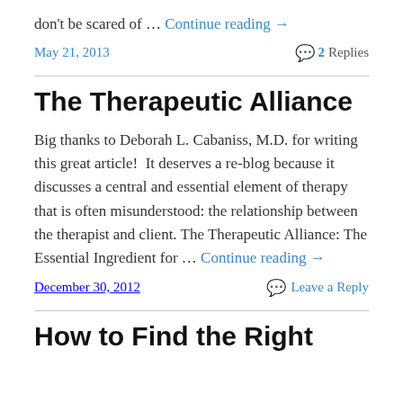don't be scared of … Continue reading →
May 21, 2013   💬 2 Replies
The Therapeutic Alliance
Big thanks to Deborah L. Cabaniss, M.D. for writing this great article!  It deserves a re-blog because it discusses a central and essential element of therapy that is often misunderstood: the relationship between the therapist and client. The Therapeutic Alliance: The Essential Ingredient for … Continue reading →
December 30, 2012   Leave a Reply
How to Find the Right